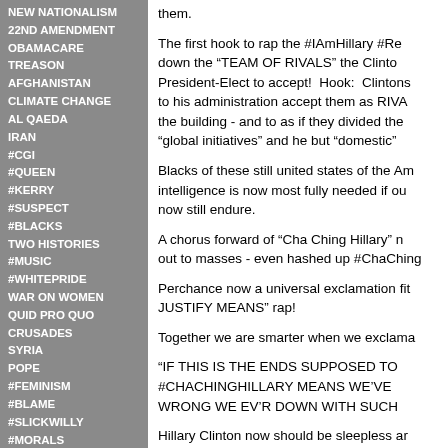NEW NATIONALISM
22ND AMENDMENT
OBAMACARE
TREASON
AFGHANISTAN
CLIMATE CHANGE
AL QAEDA
IRAN
#CGI
#QUEEN
#KERRY
#SUSPECT
#BLACKS
TWO HISTORIES
#MUSIC
#WHITEPRIDE
WAR ON WOMEN
QUID PRO QUO
CRUSADES
SYRIA
POPE
#FEMINISM
#BLAME
#SLICKWILLY
#MORALS
#MAGIC
them.
The first hook to rap the #IAmHillary #Re... down the “TEAM OF RIVALS” the Clinto... President-Elect to accept! Hook: Clintons... to his administration accept them as RIVA... the building - and to as if they divided the ... “global initiatives” and he but “domestic”
Blacks of these still united states of the Am... intelligence is now most fully needed if ou... now still endure.
A chorus forward of “Cha Ching Hillary” ... out to masses - even hashed up #ChaChing...
Perchance now a universal exclamation fit... JUSTIFY MEANS” rap!
Together we are smarter when we exclama...
“IF THIS IS THE ENDS SUPPOSED TO ... #CHACHINGHILLARY MEANS WE’VE... WRONG WE EV’R DOWN WITH SUCH...
Hillary Clinton now should be sleepless ar...